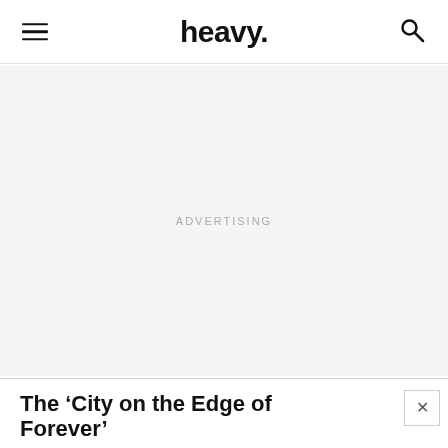heavy.
ADVERTISING
The ‘City on the Edge of Forever’ Trailer